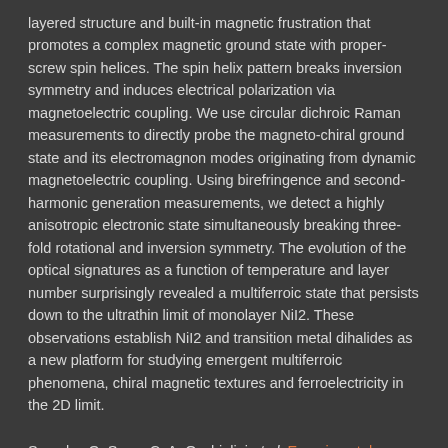layered structure and built-in magnetic frustration that promotes a complex magnetic ground state with proper-screw spin helices. The spin helix pattern breaks inversion symmetry and induces electrical polarization via magnetoelectric coupling. We use circular dichroic Raman measurements to directly probe the magneto-chiral ground state and its electromagnon modes originating from dynamic magnetoelectric coupling. Using birefringence and second-harmonic generation measurements, we detect a highly anisotropic electronic state simultaneously breaking three-fold rotational and inversion symmetry. The evolution of the optical signatures as a function of temperature and layer number surprisingly revealed a multiferroic state that persists down to the ultrathin limit of monolayer NiI2. These observations establish NiI2 and transition metal dihalides as a new platform for studying emergent multiferroic phenomena, chiral magnetic textures and ferroelectricity in the 2D limit.
See also Q. Song, C. A. Occhialini et al. Experimental